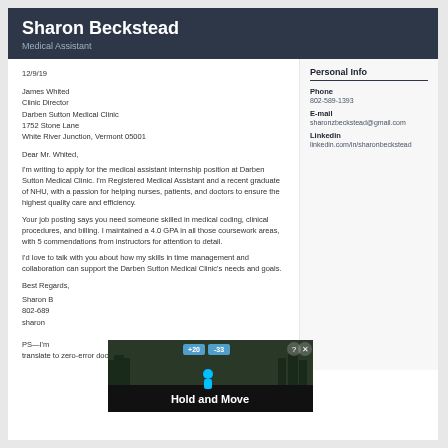Sharon Beckstead
Medical Assistant
12/9/19
James Whited
Clinic Director
Darben Sutton Medical Clinic
1752 Stone Lane
White River Junction, Vermont 05001
Dear Mr. Whited,
I'm writing to apply for the medical assistant internship position at Darben Sutton Medical Clinic. I'm Registered Medical Assistant and a recent graduate of NHU, with a passion for helping nurses, patients, and doctors to ensure the highest quality care and efficiency.
Your job posting says you need someone skilled in medical coding, clinical procedures, and billing. I maintained a 4.0 GPA in all those coursework areas, with 5 commendations from instructors for attention to detail.
I'd love to talk with you about how my skills in time management and collaboration can support the Darben Sutton Medical Clinic's needs and goals.
Best Regards,
Sharon B
802-689
sharon

PS—I'm
translate to zero-error documentation at your clinic.
Personal Info
Phone
802-589-1393
E-mail
sharonzbeckstead@gmail.com
Linkedin
linkedin.com/in/sharonbeckstead
[Figure (other): Hold and Move advertisement overlay with outdoor background]